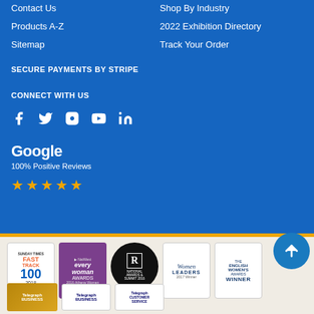Contact Us
Products A-Z
Sitemap
Shop By Industry
2022 Exhibition Directory
Track Your Order
SECURE PAYMENTS BY STRIPE
CONNECT WITH US
[Figure (infographic): Social media icons: Facebook, Twitter, Instagram, YouTube, LinkedIn]
Google
100% Positive Reviews
[Figure (infographic): Five gold stars rating]
[Figure (infographic): Award badges: Fast Track 100, EveryWoman Awards, National Awards & Summit, Women Leaders 2017 Winner, The English Women's Awards Winner, Telegraph Business awards, Telegraph Business, Telegraph Customer Service]